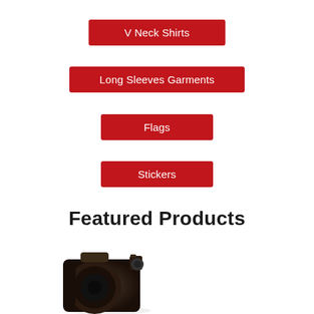V Neck Shirts
Long Sleeves Garments
Flags
Stickers
Featured Products
[Figure (photo): Partial view of a camera or dark-colored product on white background, cropped at bottom of page]